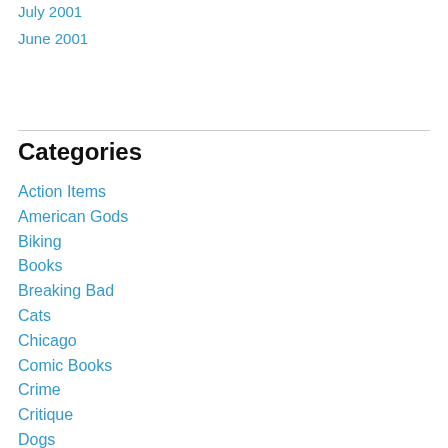July 2001
June 2001
Categories
Action Items
American Gods
Biking
Books
Breaking Bad
Cats
Chicago
Comic Books
Crime
Critique
Dogs
Dreams
Education
Espionage